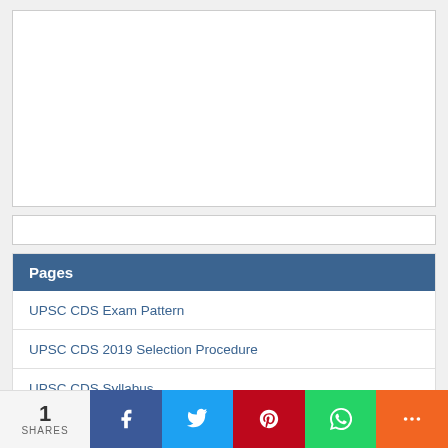[Figure (other): White rectangular placeholder box]
[Figure (other): Search input box]
Pages
UPSC CDS Exam Pattern
UPSC CDS 2019 Selection Procedure
UPSC CDS Syllabus
UPSC CDS Eligibility
LIC ADO Eligibility Details
LIC ADO Selection Procedure Details
SBI PO Selection Process
1 SHARES